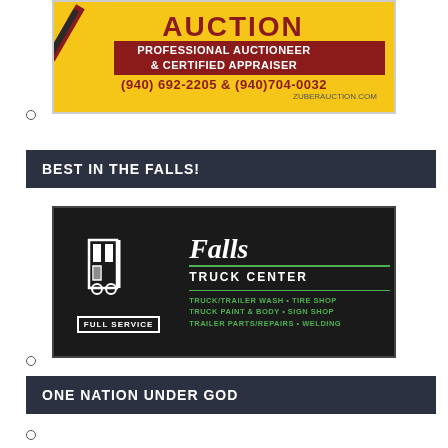[Figure (logo): Zuber Auction advertisement - yellow background with red diagonal slash logo, 'AUCTION' text, 'PROFESSIONAL AUCTIONEER & CERTIFIED APPRAISER', phone numbers (940) 692-2205 & (940)704-0032, website ZUBERAUCTION.COM]
BEST IN THE FALLS!
[Figure (logo): Falls Truck Center advertisement - dark background with truck icon on left labeled FULL SERVICE, 'Falls' in large italic white text, 'TRUCK CENTER' below, services listed in green: TRUCK/TRAILER WASH • TIRE SHOP, TRUCK PAINT & BODY • SIGN SHOP, TRAILER PARTS/REPAIRS • WELDING]
ONE NATION UNDER GOD